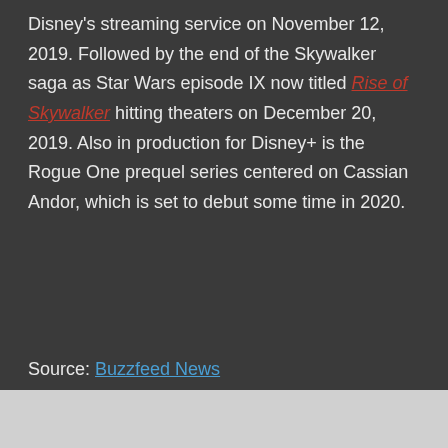Disney's streaming service on November 12, 2019. Followed by the end of the Skywalker saga as Star Wars episode IX now titled Rise of Skywalker hitting theaters on December 20, 2019. Also in production for Disney+ is the Rogue One prequel series centered on Cassian Andor, which is set to debut some time in 2020.
Source: Buzzfeed News